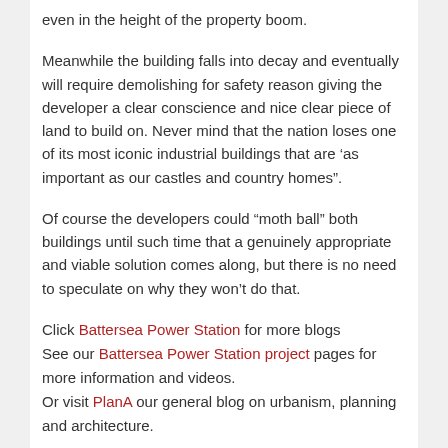even in the height of the property boom.
Meanwhile the building falls into decay and eventually will require demolishing for safety reason giving the developer a clear conscience and nice clear piece of land to build on. Never mind that the nation loses one of its most iconic industrial buildings that are ‘as important as our castles and country homes”.
Of course the developers could “moth ball” both buildings until such time that a genuinely appropriate and viable solution comes along, but there is no need to speculate on why they won’t do that.
Click Battersea Power Station for more blogs
See our Battersea Power Station project pages for more information and videos.
Or visit PlanA our general blog on urbanism, planning and architecture.
Spectacle homepage
Befriend Spectacle Page on Facebook